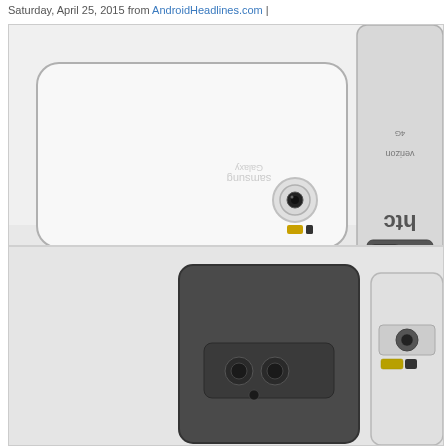Saturday, April 25, 2015 from AndroidHeadlines.com |
[Figure (photo): Top-down view of four smartphones laid flat on a white surface. Top-left: a white Samsung Galaxy S6 face-down showing its back with camera module. Top-right: a silver HTC One M9 face-down on Verizon, showing HTC branding and large camera. Bottom-left: a dark gray HTC One M8 or similar phone face-down. Bottom-right: a silver Samsung Galaxy S6 Edge or similar phone face-down.]